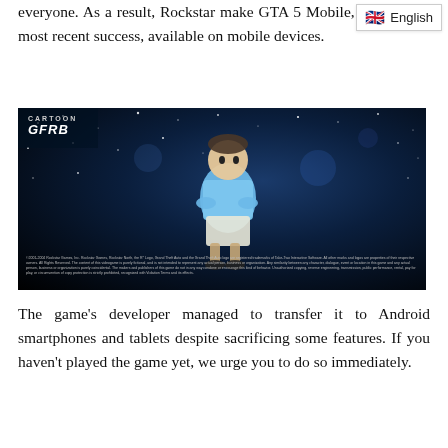everyone. As a result, Rockstar make GTA 5 Mobile, their most recent success, available on mobile devices.
English
[Figure (screenshot): Screenshot of a GTA mobile game showing a cartoon-style character in a light blue outfit standing against a dark starry background, with a 'Cartoon GTA' logo in the top left corner and copyright text at the bottom.]
The game's developer managed to transfer it to Android smartphones and tablets despite sacrificing some features. If you haven't played the game yet, we urge you to do so immediately.